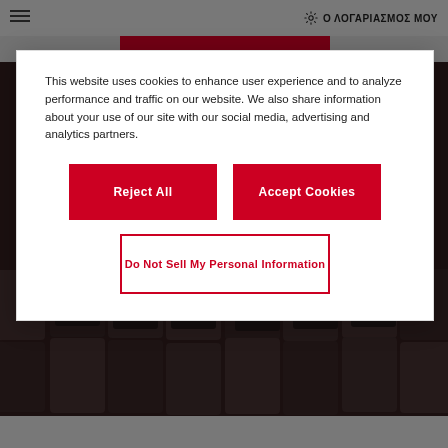Ο ΛΟΓΑΡΙΑΣΜΟΣ ΜΟΥ
[Figure (photo): Dark background photo of cinema or stadium seats with red accents, partially visible behind and below the cookie consent modal.]
This website uses cookies to enhance user experience and to analyze performance and traffic on our website. We also share information about your use of our site with our social media, advertising and analytics partners.
Reject All
Accept Cookies
Do Not Sell My Personal Information